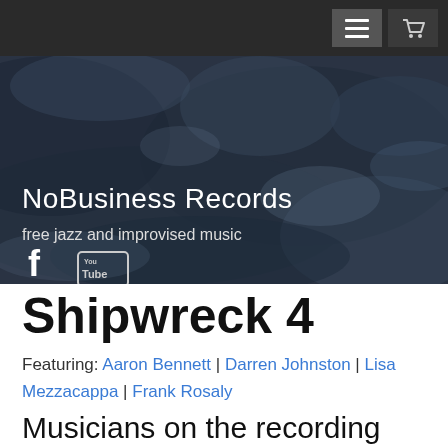[Figure (screenshot): Website header navigation bar with hamburger menu button and shopping cart icon on dark background]
[Figure (photo): Hero banner with dark blue-grey rocky texture background showing NoBusiness Records website header with site title, tagline, and social media icons (Facebook, YouTube)]
Shipwreck 4
Featuring: Aaron Bennett | Darren Johnston | Lisa Mezzacappa | Frank Rosaly
Musicians on the recording